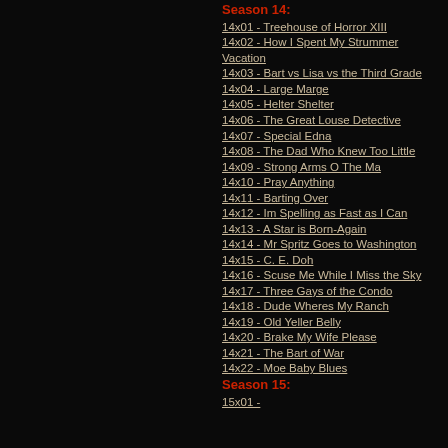Season 14:
14x01 - Treehouse of Horror XIII
14x02 - How I Spent My Strummer Vacation
14x03 - Bart vs Lisa vs the Third Grade
14x04 - Large Marge
14x05 - Helter Shelter
14x06 - The Great Louse Detective
14x07 - Special Edna
14x08 - The Dad Who Knew Too Little
14x09 - Strong Arms O The Ma
14x10 - Pray Anything
14x11 - Barting Over
14x12 - Im Spelling as Fast as I Can
14x13 - A Star is Born-Again
14x14 - Mr Spritz Goes to Washington
14x15 - C. E. Doh
14x16 - Scuse Me While I Miss the Sky
14x17 - Three Gays of the Condo
14x18 - Dude Wheres My Ranch
14x19 - Old Yeller Belly
14x20 - Brake My Wife Please
14x21 - The Bart of War
14x22 - Moe Baby Blues
Season 15:
15x01 - ...